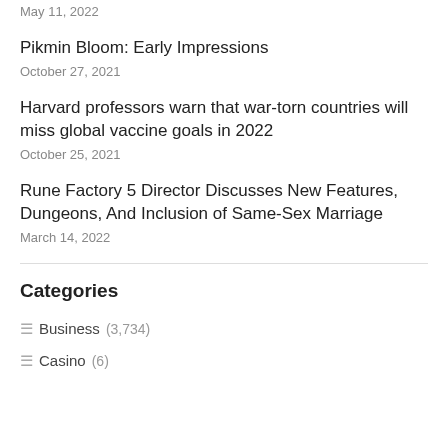May 11, 2022
Pikmin Bloom: Early Impressions
October 27, 2021
Harvard professors warn that war-torn countries will miss global vaccine goals in 2022
October 25, 2021
Rune Factory 5 Director Discusses New Features, Dungeons, And Inclusion of Same-Sex Marriage
March 14, 2022
Categories
Business (3,734)
Casino (6)